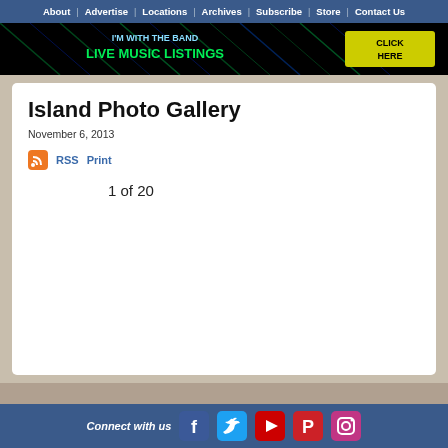About  Advertise  Locations  Archives  Subscribe  Store  Contact Us
[Figure (screenshot): Dark banner advertisement with green neon text: 'I'M WITH THE BAND LIVE MUSIC LISTINGS' and a 'CLICK HERE' button on the right side]
Island Photo Gallery
November 6, 2013
RSS  Print
1 of 20
Connect with us